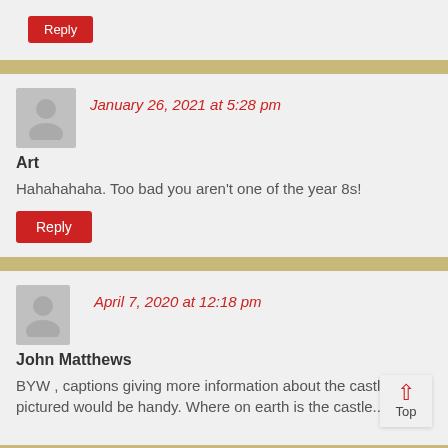Reply (button in top strip)
January 26, 2021 at 5:28 pm
Art
Hahahahaha. Too bad you aren't one of the year 8s!
Reply
April 7, 2020 at 12:18 pm
John Matthews
BYW , captions giving more information about the castles pictured would be handy. Where on earth is the castle...
Top